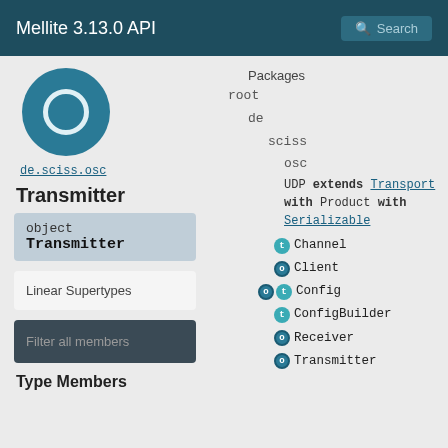Mellite 3.13.0 API
[Figure (logo): Teal circle logo with white ring inside]
de.sciss.osc
Transmitter
object Transmitter
Linear Supertypes
Filter all members
Type Members
Packages
root
de
sciss
osc
UDP extends Transport with Product with Serializable
Channel
Client
Config
ConfigBuilder
Receiver
Transmitter